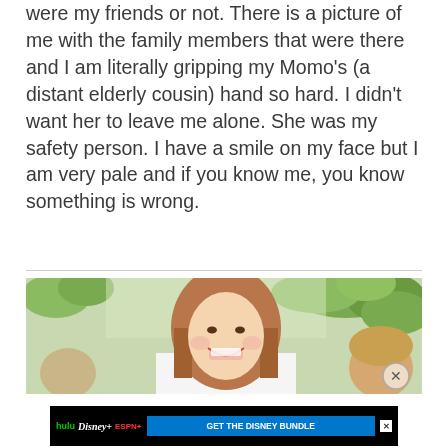were my friends or not. There is a picture of me with the family members that were there and I am literally gripping my Momo's (a distant elderly cousin) hand so hard. I didn't want her to leave me alone. She was my safety person. I have a smile on my face but I am very pale and if you know me, you know something is wrong.
[Figure (photo): A smiling woman with shoulder-length reddish-blonde hair, photographed outdoors with greenery in the background. A child's head is partially visible on the right side.]
[Figure (infographic): Disney Bundle advertisement showing Hulu, Disney+, and ESPN+ logos with a blue 'GET THE DISNEY BUNDLE' call-to-action button on a black background, with fine print below.]